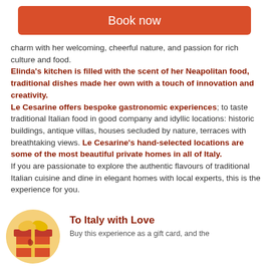Book now
charm with her welcoming, cheerful nature, and passion for rich culture and food. Elinda's kitchen is filled with the scent of her Neapolitan food, traditional dishes made her own with a touch of innovation and creativity. Le Cesarine offers bespoke gastronomic experiences; to taste traditional Italian food in good company and idyllic locations: historic buildings, antique villas, houses secluded by nature, terraces with breathtaking views. Le Cesarine's hand-selected locations are some of the most beautiful private homes in all of Italy. If you are passionate to explore the authentic flavours of traditional Italian cuisine and dine in elegant homes with local experts, this is the experience for you.
[Figure (illustration): Gift box with bow on a yellow/orange circular background, with an Italy map silhouette on the box]
To Italy with Love
Buy this experience as a gift card, and the